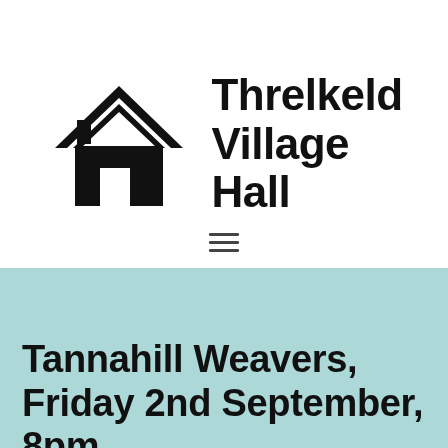[Figure (logo): Threlkeld Village Hall logo: black house icon on the left, bold text 'Threlkeld Village Hall' on the right]
[Figure (other): Hamburger menu icon — three horizontal lines]
Tannahill Weavers, Friday 2nd September, 8pm